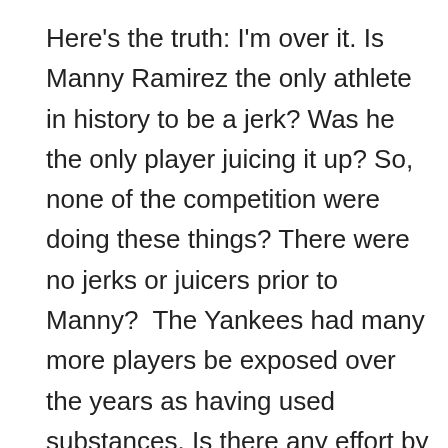Here's the truth: I'm over it. Is Manny Ramirez the only athlete in history to be a jerk? Was he the only player juicing it up? So, none of the competition were doing these things? There were no jerks or juicers prior to Manny?  The Yankees had many more players be exposed over the years as having used substances. Is there any effort by the local media to diminish their accomplishments? No. Only with the locals. Does it bother me that Manny did these? Yeah. It does. But I'm over it. Why is it such a horrible thing that someone cares mostly about just what happens on the field? When did this change? Athletes in